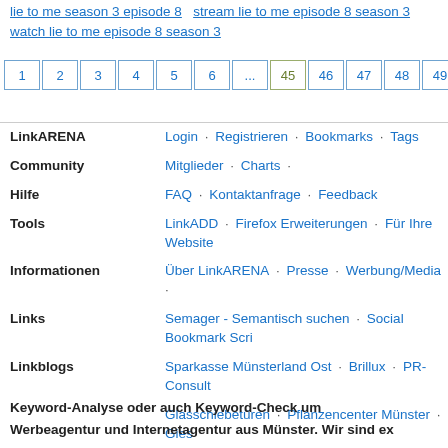lie to me season 3 episode 8  stream lie to me episode 8 season 3  watch lie to me episode 8 season 3
1 2 3 4 5 6 ... 45 46 47 48 49 50 Z
LinkARENA  Login · Registrieren · Bookmarks · Tags
Community  Mitglieder · Charts ·
Hilfe  FAQ · Kontaktanfrage · Feedback
Tools  LinkADD · Firefox Erweiterungen · Für Ihre Website
Informationen  Über LinkARENA · Presse · Werbung/Media ·
Links  Semager - Semantisch suchen · Social Bookmark Script
Linkblogs  Sparkasse Münsterland Ost · Brillux · PR-Consult
Glasschiebetüren · Pflanzencenter Münster · Gies...
Rechtliches  Impressum · AGB · Datenschutz
Keyword-Analyse oder auch Keyword-Check um...
Werbeagentur und Internetagentur aus Münster. Wir sind ex...